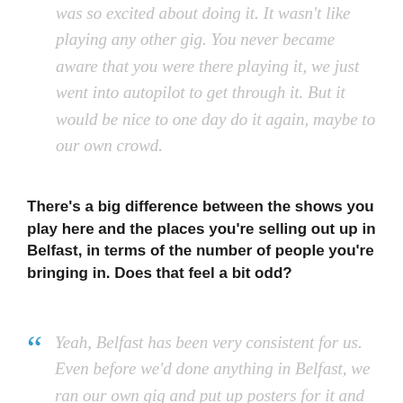was so excited about doing it. It wasn't like playing any other gig. You never became aware that you were there playing it, we just went into autopilot to get through it. But it would be nice to one day do it again, maybe to our own crowd.
There's a big difference between the shows you play here and the places you're selling out up in Belfast, in terms of the number of people you're bringing in. Does that feel a bit odd?
Yeah, Belfast has been very consistent for us. Even before we'd done anything in Belfast, we ran our own gig and put up posters for it and sold it out. It was at that point that we felt like